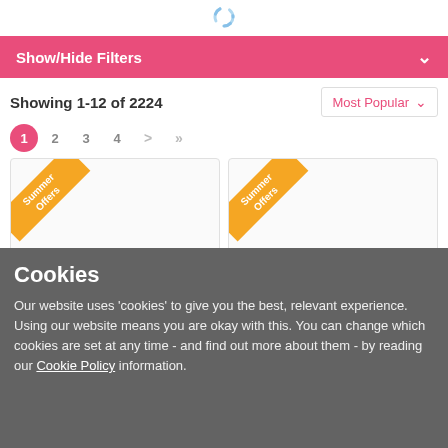[Figure (other): Loading spinner icon at top center]
Show/Hide Filters
Showing 1-12 of 2224
Most Popular
1 2 3 4 > >>
[Figure (other): Two product card placeholders with orange Summer Offers ribbon banners]
Cookies
Our website uses 'cookies' to give you the best, relevant experience. Using our website means you are okay with this. You can change which cookies are set at any time - and find out more about them - by reading our Cookie Policy information.
OK, I understand and agree
3251 Panache Tango II Balcony Bra - 3251 White
Classic Non Wirod Bra